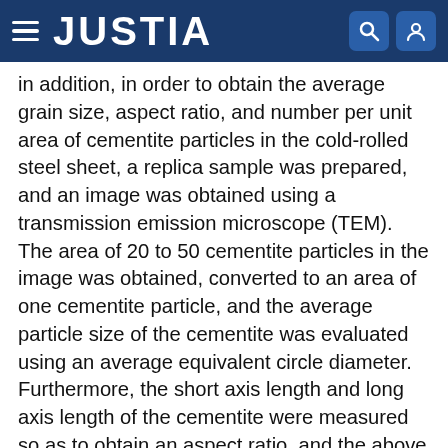JUSTIA
In addition, in order to obtain the average grain size, aspect ratio, and number per unit area of cementite particles in the cold-rolled steel sheet, a replica sample was prepared, and an image was obtained using a transmission emission microscope (TEM). The area of 20 to 50 cementite particles in the image was obtained, converted to an area of one cementite particle, and the average particle size of the cementite was evaluated using an average equivalent circle diameter. Furthermore, the short axis length and long axis length of the cementite were measured so as to obtain an aspect ratio, and the above spheroidization ratio was computed. Similarly, the number of cementite particles having an aspect ratio of 1 to 3 was divided by the evaluation area, thereby computing the number of the cementite particles per unit area (density). Meanwhile, for observation of the cementite, for example, an optical